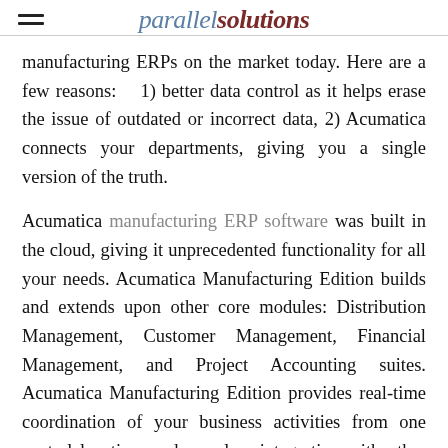parallel solutions
manufacturing ERPs on the market today. Here are a few reasons:    1) better data control as it helps erase the issue of outdated or incorrect data, 2) Acumatica connects your departments, giving you a single version of the truth.
Acumatica manufacturing ERP software was built in the cloud, giving it unprecedented functionality for all your needs. Acumatica Manufacturing Edition builds and extends upon other core modules: Distribution Management, Customer Management, Financial Management, and Project Accounting suites. Acumatica Manufacturing Edition provides real-time coordination of your business activities from one central location, and seamless integration with other applications of your business allows you to have visibility across all